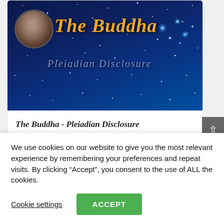[Figure (illustration): Banner image with dark blue starfield background, circular portrait of Buddha statue on left, large italic golden text 'The Buddha' and semi-transparent subtitle 'Pleiadian Disclosure' below]
The Buddha - Pleiadian Disclosure
We use cookies on our website to give you the most relevant experience by remembering your preferences and repeat visits. By clicking “Accept”, you consent to the use of ALL the cookies.
Cookie settings   ACCEPT